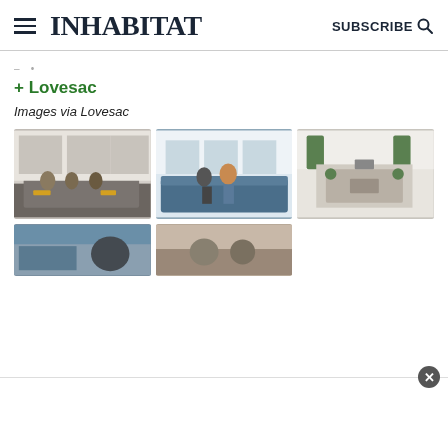INHABITAT — SUBSCRIBE
+ Lovesac
Images via Lovesac
[Figure (photo): Three photos of Lovesac furniture in living room settings: family on grey sectional sofa, children on blue sofa, aerial view of living room]
[Figure (photo): Two partial photos of Lovesac furniture, partially visible at bottom of page]